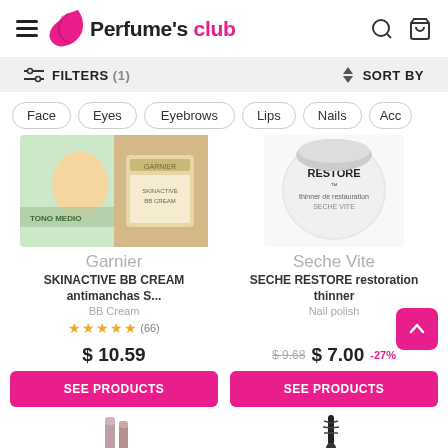Perfume's club
FILTERS (1)   SORT BY
Face
Eyes
Eyebrows
Lips
Nails
Acc
[Figure (photo): Garnier SKINACTIVE BB Cream product image]
Garnier
SKINACTIVE BB CREAM antimanchas S...
BB Cream
★★★★★ (66)
$ 10.59
SEE PRODUCTS
[Figure (photo): Seche Vite SECHE RESTORE restoration thinner product image]
Seche Vite
SECHE RESTORE restoration thinner
Nail polish
$ 9.68   $ 7.00   -27%
SEE PRODUCTS
[Figure (photo): Next product images partially visible at bottom]